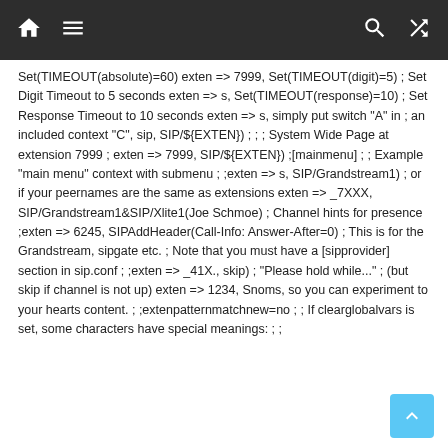Navigation bar with home, menu, search, shuffle icons
Set(TIMEOUT(absolute)=60) exten => 7999, Set(TIMEOUT(digit)=5) ; Set Digit Timeout to 5 seconds exten => s, Set(TIMEOUT(response)=10) ; Set Response Timeout to 10 seconds exten => s, simply put switch "A" in ; an included context "C", sip, SIP/${EXTEN}) ; ; ; System Wide Page at extension 7999 ; exten => 7999, SIP/${EXTEN}) ;[mainmenu] ; ; Example "main menu" context with submenu ; ;exten => s, SIP/Grandstream1) ; or if your peernames are the same as extensions exten => _7XXX, SIP/Grandstream1&SIP/Xlite1(Joe Schmoe) ; Channel hints for presence ;exten => 6245, SIPAddHeader(Call-Info: Answer-After=0) ; This is for the Grandstream, sipgate etc. ; Note that you must have a [sipprovider] section in sip.conf ; ;exten => _41X., skip) ; "Please hold while..." ; (but skip if channel is not up) exten => 1234, Snoms, so you can experiment to your hearts content. ; ;extenpatternmatchnew=no ; ; If clearglobalvars is set, some characters have special meanings: ; ;